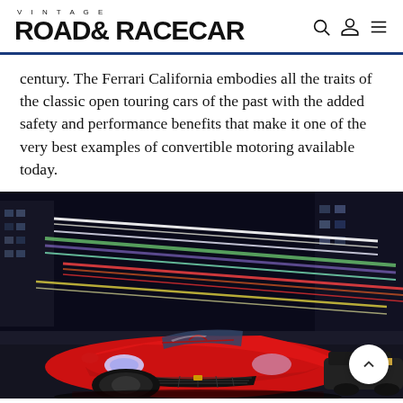VINTAGE ROAD & RACECAR
century. The Ferrari California embodies all the traits of the classic open touring cars of the past with the added safety and performance benefits that make it one of the very best examples of convertible motoring available today.
[Figure (photo): A red Ferrari California convertible photographed at night with colorful light streaks from passing traffic in an urban setting, viewed from the front-quarter angle.]